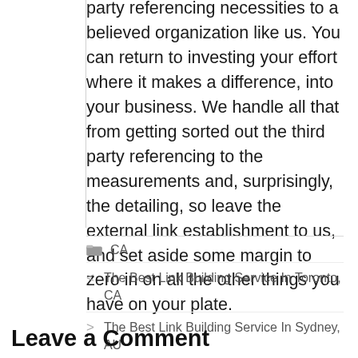party referencing necessities to a believed organization like us. You can return to investing your effort where it makes a difference, into your business. We handle all that from getting sorted out the third party referencing to the measurements and, surprisingly, the detailing, so leave the external link establishment to us, and set aside some margin to zero in on all the other things you have on your plate.
CA
The Best Link Building Service In Toronto, CA
The Best Link Building Service In Sydney, AU
Leave a Comment